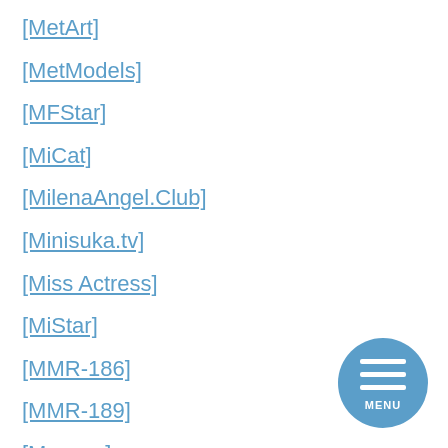[MetArt]
[MetModels]
[MFStar]
[MiCat]
[MilenaAngel.Club]
[Minisuka.tv]
[Miss Actress]
[MiStar]
[MMR-186]
[MMR-189]
[Moecco]
[Moodyz Photobook]
[Moon Night Snap]